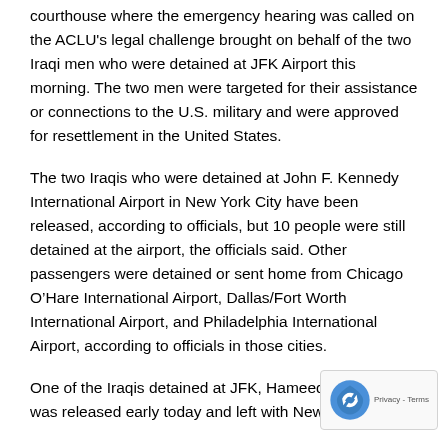courthouse where the emergency hearing was called on the ACLU's legal challenge brought on behalf of the two Iraqi men who were detained at JFK Airport this morning. The two men were targeted for their assistance or connections to the U.S. military and were approved for resettlement in the United States.
The two Iraqis who were detained at John F. Kennedy International Airport in New York City have been released, according to officials, but 10 people were still detained at the airport, the officials said. Other passengers were detained or sent home from Chicago O’Hare International Airport, Dallas/Fort Worth International Airport, and Philadelphia International Airport, according to officials in those cities.
One of the Iraqis detained at JFK, Hameed Jhalid Darw was released early today and left with New York Reps.